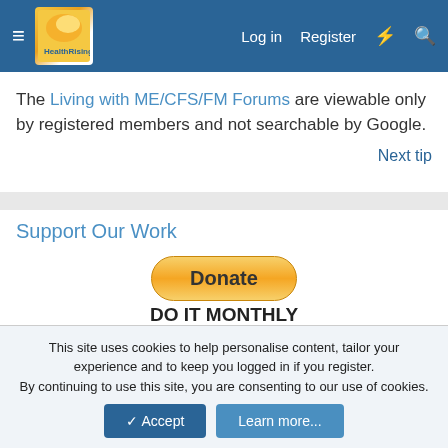Log in  Register
The Living with ME/CFS/FM Forums are viewable only by registered members and not searchable by Google.
Next tip
Support Our Work
[Figure (other): PayPal Donate button - yellow pill-shaped button with bold text 'Donate']
DO IT MONTHLY
Option 1 : $5.00 USD - month
This site uses cookies to help personalise content, tailor your experience and to keep you logged in if you register.
By continuing to use this site, you are consenting to our use of cookies.